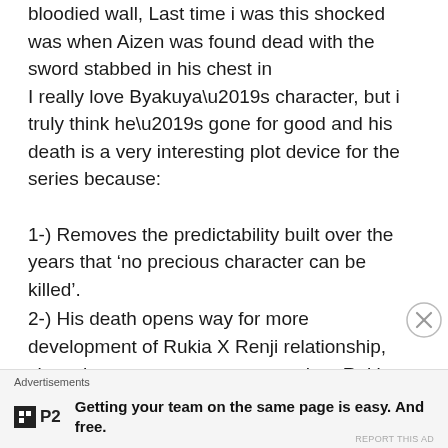bloodied wall, Last time i was this shocked was when Aizen was found dead with the sword stabbed in his chest in
I really love Byakuya’s character, but i truly think he’s gone for good and his death is a very interesting plot device for the series because:
1-) Removes the predictability built over the years that ‘no precious character can be killed’.
2-) His death opens way for more development of Rukia X Renji relationship, since they went separate ways when Rukia was adopted by a noble family.
Advertisements
Getting your team on the same page is easy. And free.